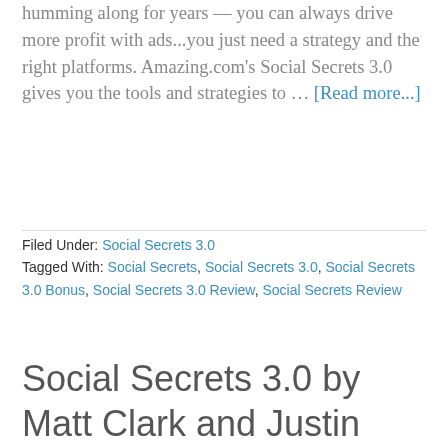humming along for years — you can always drive more profit with ads...you just need a strategy and the right platforms. Amazing.com's Social Secrets 3.0 gives you the tools and strategies to … [Read more...]
Filed Under: Social Secrets 3.0
Tagged With: Social Secrets, Social Secrets 3.0, Social Secrets 3.0 Bonus, Social Secrets 3.0 Review, Social Secrets Review
Social Secrets 3.0 by Matt Clark and Justin Aquilla